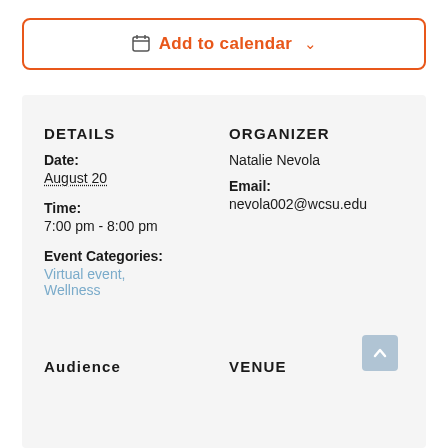Add to calendar
DETAILS
Date:
August 20
Time:
7:00 pm - 8:00 pm
Event Categories:
Virtual event,
Wellness
ORGANIZER
Natalie Nevola
Email:
nevola002@wcsu.edu
Audience
VENUE